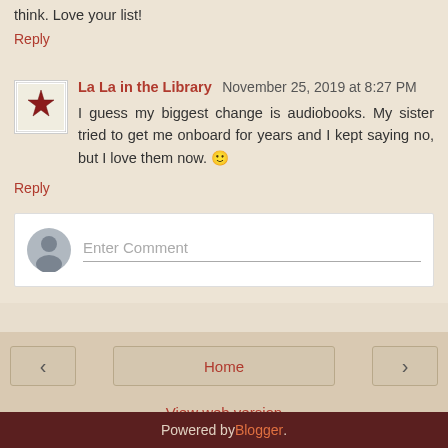think. Love your list!
Reply
La La in the Library  November 25, 2019 at 8:27 PM
I guess my biggest change is audiobooks. My sister tried to get me onboard for years and I kept saying no, but I love them now. 🙂
Reply
Home
View web version
Powered by Blogger.